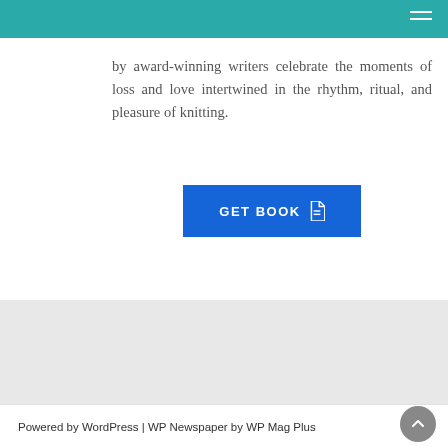by award-winning writers celebrate the moments of loss and love intertwined in the rhythm, ritual, and pleasure of knitting.
GET BOOK
Powered by WordPress | WP Newspaper by WP Mag Plus